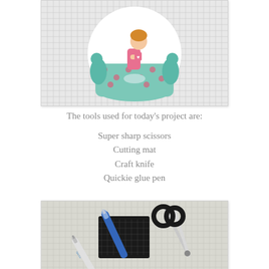[Figure (photo): A cartoon/illustration of a woman sitting in a teal polka-dot armchair, holding a mug, on a grid-paper background, displayed as a circular die-cut sticker.]
The tools used for today’s project are:
Super sharp scissors
Cutting mat
Craft knife
Quickie glue pen
[Figure (photo): Photo of crafting tools on a grid background: a Quickie glue pen, a blue craft knife/pen, a small black cutting mat, and a pair of scissors with black handles.]